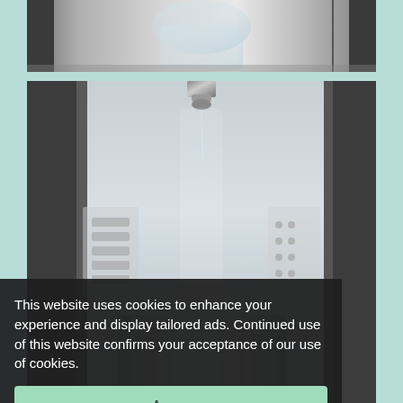[Figure (photo): Close-up photo of a refrigerator water/ice dispenser nozzle with stainless steel interior, viewed from above. Top portion showing a glass and dispenser area.]
[Figure (photo): Main photo of a refrigerator water dispenser in stainless steel, showing a metallic nozzle dispensing water into a recessed compartment with ridged plastic base.]
This website uses cookies to enhance your experience and display tailored ads. Continued use of this website confirms your acceptance of our use of cookies.
Agree